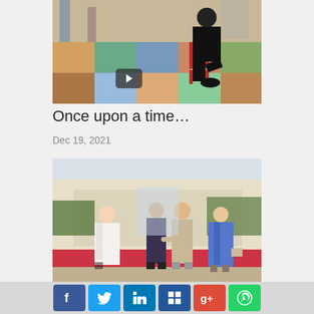[Figure (photo): A person dressed in black sitting on a red chair on a colorful tiled outdoor area, with others in the background]
Once upon a time…
Dec 19, 2021
[Figure (photo): Outdoor diplomatic reception scene with four people standing on a red carpet — a woman in white dress, two men shaking hands, and a woman in a blue dress]
Facebook Twitter LinkedIn Delicious Google+ WhatsApp